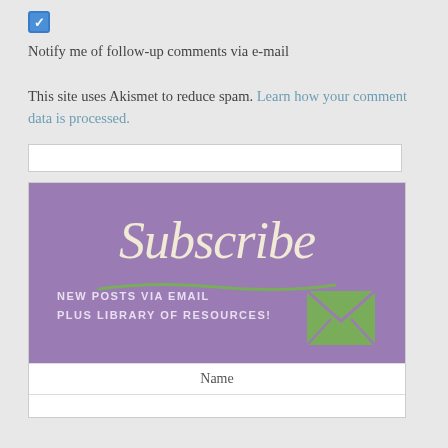Notify me of follow-up comments via e-mail
This site uses Akismet to reduce spam. Learn how your comment data is processed.
[Figure (illustration): Purple subscribe banner with cursive 'Subscribe' text, green wave underline, 'New Posts Via Email Plus Library of Resources!' text, and green envelope icon]
Name